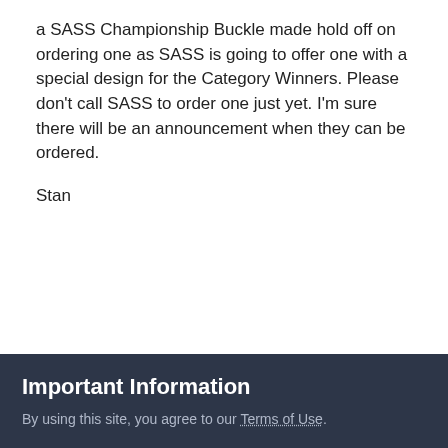a SASS Championship Buckle made hold off on ordering one as SASS is going to offer one with a special design for the Category Winners. Please don't call SASS to order one just yet. I'm sure there will be an announcement when they can be ordered.
Stan
| Replies | Created | Last Reply |
| --- | --- | --- |
| 198 | Mar 9 | Apr 3 |
Toranado, SASS # 58447
Important Information
By using this site, you agree to our Terms of Use.
✓  I accept